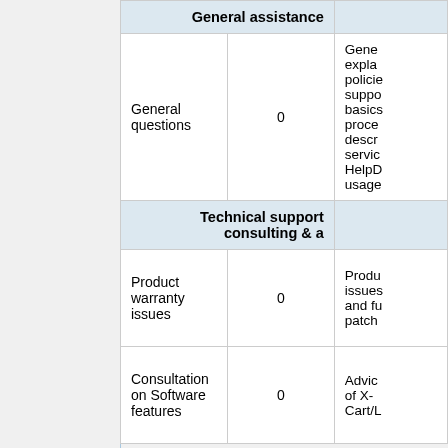|  |  | General assistance |
| --- | --- | --- |
| General questions | 0 | Gene... expla... policie... suppo... basics... proce... descr... servic... HelpD... usage... |
| Technical support consulting & a |  |  |
| Product warranty issues | 0 | Produ... issues... and fu... patch... |
| Consultation on Software features | 0 | Advic... of X-... Cart/L... |